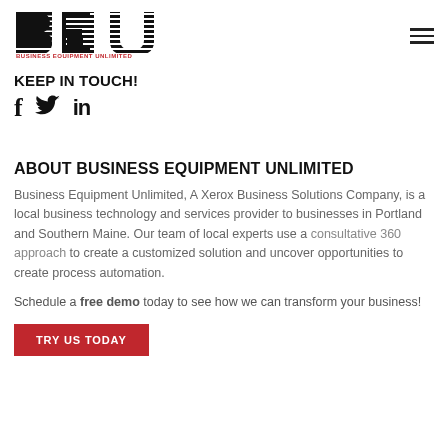[Figure (logo): BEU Business Equipment Unlimited logo — bold striped letters BEU above red text 'BUSINESS EQUIPMENT UNLIMITED']
KEEP IN TOUCH!
[Figure (infographic): Social media icons: Facebook (f), Twitter (bird), LinkedIn (in)]
ABOUT BUSINESS EQUIPMENT UNLIMITED
Business Equipment Unlimited, A Xerox Business Solutions Company, is a local business technology and services provider to businesses in Portland and Southern Maine. Our team of local experts use a consultative 360 approach to create a customized solution and uncover opportunities to create process automation.
Schedule a free demo today to see how we can transform your business!
TRY US TODAY